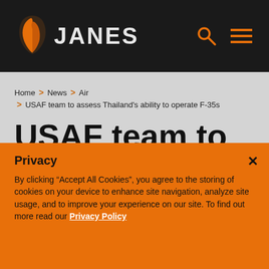JANES
Home > News > Air > USAF team to assess Thailand's ability to operate F-35s
USAF team to assess Thailand's ability to operate F-35s
Privacy
By clicking “Accept All Cookies”, you agree to the storing of cookies on your device to enhance site navigation, analyze site usage, and to improve your experience on our site. To find out more read our Privacy Policy